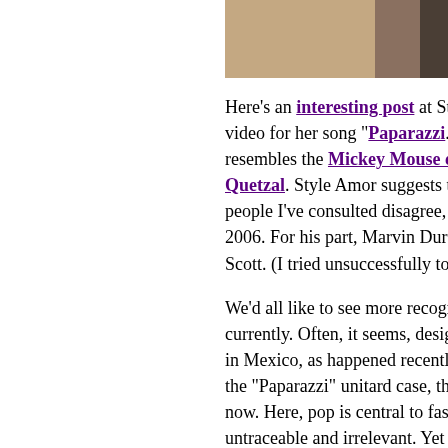[Figure (photo): Partial photograph showing a beige/tan colored surface with a dark element on the right side, cropped at top of page]
Here's an interesting post at Style Amo video for her song "Paparazzi." It's from resembles the Mickey Mouse ears-wea Quetzal. Style Amor suggests that Jerem people I've consulted disagree, saying th 2006. For his part, Marvin Duran tells me Scott. (I tried unsuccessfully to get in tou
We'd all like to see more recognition for t currently. Often, it seems, designers in th in Mexico, as happened recently with EG the "Paparazzi" unitard case, the origin c now. Here, pop is central to fashion, fash untraceable and irrelevant. Yet seeing ar queen of the moment -- in a video about
Saturday, September 12 marked the one Sanchez, one of Mexican fashion's brigh and talk about much, even when we run crowded parties -- but you can still feel th this shock, a sustained disbelief, that he